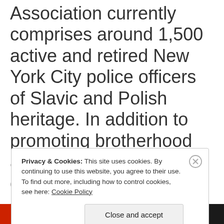Association currently comprises around 1,500 active and retired New York City police officers of Slavic and Polish heritage. In addition to promoting brotherhood and supporting various charitable causes, the group awards more than $10,000 in high school and
Privacy & Cookies: This site uses cookies. By continuing to use this website, you agree to their use. To find out more, including how to control cookies, see here: Cookie Policy
Close and accept